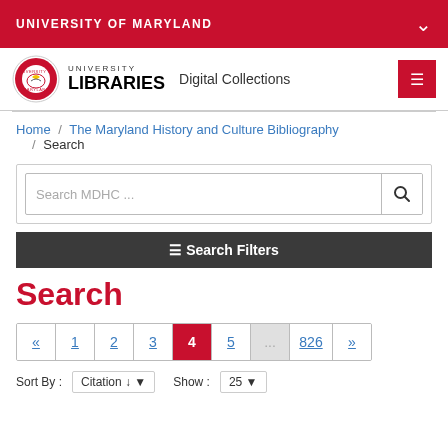UNIVERSITY OF MARYLAND
[Figure (logo): University of Maryland Libraries logo with circular seal and text UNIVERSITY LIBRARIES, Digital Collections]
Home / The Maryland History and Culture Bibliography / Search
Search MDHC ...
≡ Search Filters
Search
« 1 2 3 4 5 ... 826 »
Sort By : Citation ↓ ▼    Show : 25 ▼